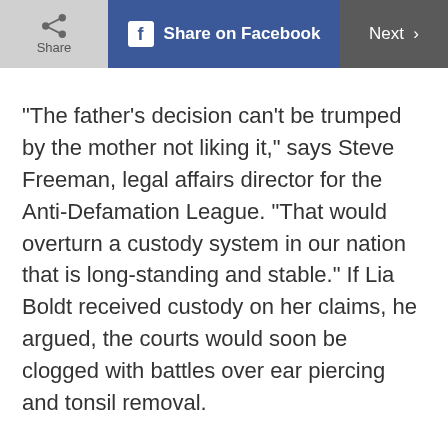Share | Share on Facebook | Next
“The father’s decision can’t be trumped by the mother not liking it,” says Steve Freeman, legal affairs director for the Anti-Defamation League. “That would overturn a custody system in our nation that is long-standing and stable.” If Lia Boldt received custody on her claims, he argued, the courts would soon be clogged with battles over ear piercing and tonsil removal.
But what about the boy? Lia’s brief was accompanied by one prepared by Doctors Opposing Circumcision, which argued that the procedure...